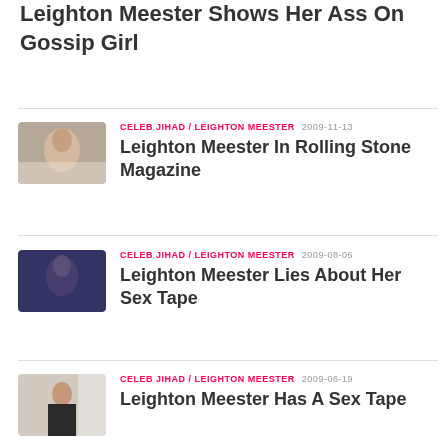Leighton Meester Shows Her Ass On Gossip Girl
CELEB JIHAD / LEIGHTON MEESTER 2009-11-13 Leighton Meester In Rolling Stone Magazine
CELEB JIHAD / LEIGHTON MEESTER 2009-08-06 Leighton Meester Lies About Her Sex Tape
CELEB JIHAD / LEIGHTON MEESTER 2009-06-19 Leighton Meester Has A Sex Tape